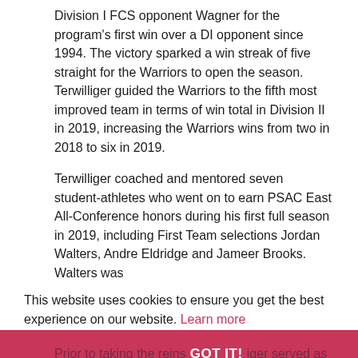Division I FCS opponent Wagner for the program's first win over a DI opponent since 1994. The victory sparked a win streak of five straight for the Warriors to open the season. Terwilliger guided the Warriors to the fifth most improved team in terms of win total in Division II in 2019, increasing the Warriors wins from two in 2018 to six in 2019.
Terwilliger coached and mentored seven student-athletes who went on to earn PSAC East All-Conference honors during his first full season in 2019, including First Team selections Jordan Walters, Andre Eldridge and Jameer Brooks. Walters was also named an All-American by four different organizations (AFCA, AP, D2CCA and Don Hansen Gazette) and was named a CoSIDA Academic All-American.
This website uses cookies to ensure you get the best experience on our website. Learn more
Prior to taking the reins, Terwilliger served as associate head coach during the 2018 season and led the program in an interim capacity for the final